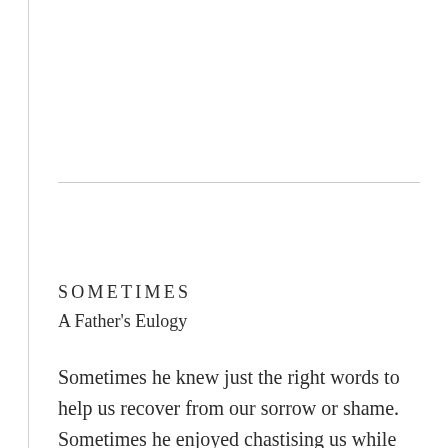SOMETIMES
A Father's Eulogy
Sometimes he knew just the right words to help us recover from our sorrow or shame. Sometimes he enjoyed chastising us while we